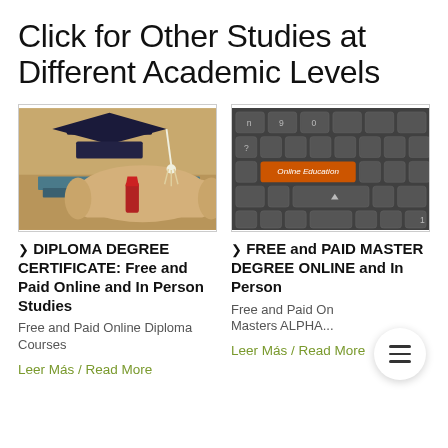Click for Other Studies at Different Academic Levels
[Figure (photo): Graduation cap and diploma scroll on a stack of books]
❯ DIPLOMA DEGREE CERTIFICATE: Free and Paid Online and In Person Studies
Free and Paid Online Diploma Courses
Leer Más / Read More
[Figure (photo): Keyboard with an orange key labeled 'Online Education']
❯ FREE and PAID MASTER DEGREE ONLINE and In Person
Free and Paid Online Masters ALPHA...
Leer Más / Read More